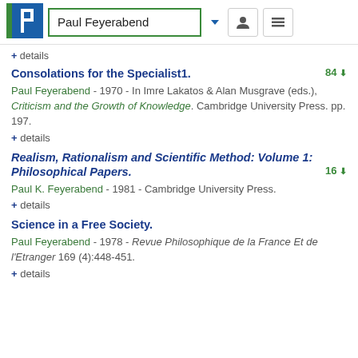Paul Feyerabend
+ details
Consolations for the Specialist1.
Paul Feyerabend - 1970 - In Imre Lakatos & Alan Musgrave (eds.), Criticism and the Growth of Knowledge. Cambridge University Press. pp. 197.
+ details
Realism, Rationalism and Scientific Method: Volume 1: Philosophical Papers.
Paul K. Feyerabend - 1981 - Cambridge University Press.
+ details
Science in a Free Society.
Paul Feyerabend - 1978 - Revue Philosophique de la France Et de l'Etranger 169 (4):448-451.
+ details